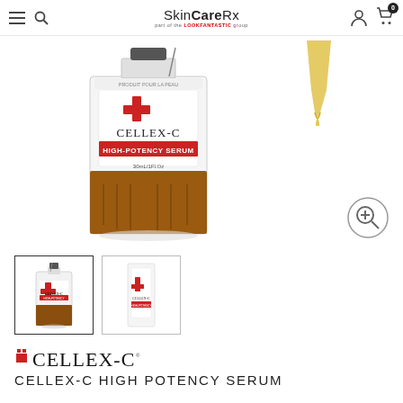SkinCareRx part of the LOOKFANTASTIC group
[Figure (photo): Cellex-C High-Potency Serum product bottle with dropper, amber glass bottle with white label and red branding, shown on white background]
[Figure (photo): Thumbnail 1: Cellex-C High-Potency Serum amber bottle with dropper]
[Figure (photo): Thumbnail 2: Cellex-C High-Potency Serum white box packaging]
[Figure (logo): Cellex-C brand logo with red cross grid symbol and stylized text CELLEX-C]
CELLEX-C HIGH POTENCY SERUM